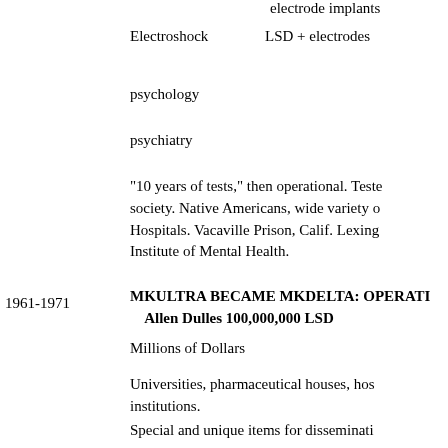electrode implants
Electroshock
LSD + electrodes
psychology
psychiatry
"10 years of tests," then operational. Tested on fringes of society. Native Americans, wide variety of people. State Hospitals. Vacaville Prison, Calif. Lexington, Kentucky. Institute of Mental Health.
1961-1971
MKULTRA BECAME MKDELTA: OPERATION ARTICHOKE Allen Dulles 100,000,000 LSD
Millions of Dollars
Universities, pharmaceutical houses, hospitals, prisons, institutions.
Special and unique items for dissemination. Coordinated MKULTRA with Army, Projects Derby Hat, Third Chance.
Purpose: TO CONTROL BODIES, WILLS,